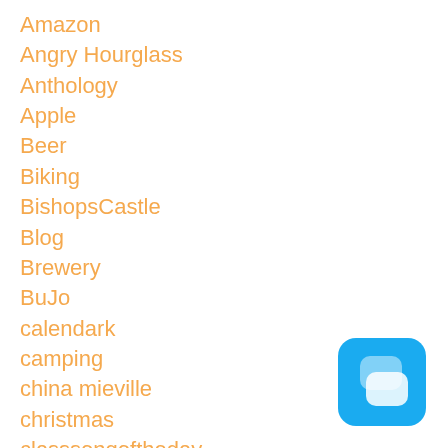Amazon
Angry Hourglass
Anthology
Apple
Beer
Biking
BishopsCastle
Blog
Brewery
BuJo
calendark
camping
china mieville
christmas
classsongoftheday
competitions
[Figure (logo): Blue rounded square app icon with two overlapping speech bubble shapes in light blue/white]